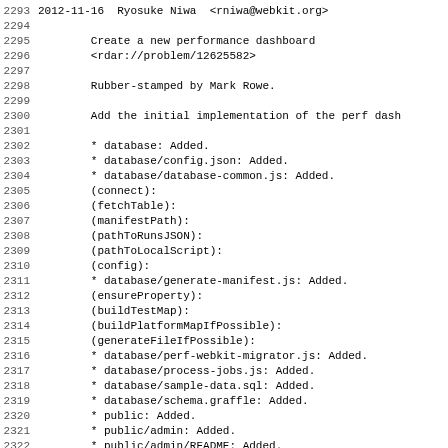2293 2012-11-16  Ryosuke Niwa  <rniwa@webkit.org>
2294
2295         Create a new performance dashboard
2296         <rdar://problem/12625582>
2297
2298         Rubber-stamped by Mark Rowe.
2299
2300         Add the initial implementation of the perf dash
2301
2302         * database: Added.
2303         * database/config.json: Added.
2304         * database/database-common.js: Added.
2305         (connect):
2306         (fetchTable):
2307         (manifestPath):
2308         (pathToRunsJSON):
2309         (pathToLocalScript):
2310         (config):
2311         * database/generate-manifest.js: Added.
2312         (ensureProperty):
2313         (buildTestMap):
2314         (buildPlatformMapIfPossible):
2315         (generateFileIfPossible):
2316         * database/perf-webkit-migrator.js: Added.
2317         * database/process-jobs.js: Added.
2318         * database/sample-data.sql: Added.
2319         * database/schema.graffle: Added.
2320         * public: Added.
2321         * public/admin: Added.
2322         * public/admin/README: Added.
2323         * public/admin/admin.css: Added.
2324         * public/admin/footer.php: Added.
2325         * public/admin/header.php: Added.